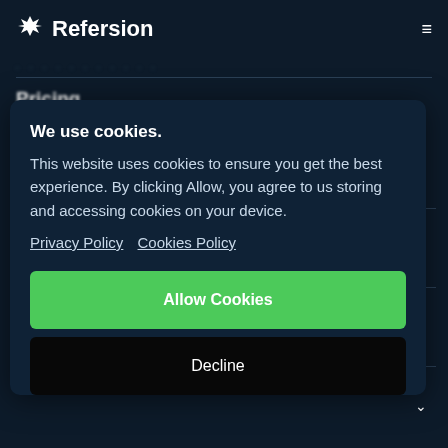Refersion
. . . . . . . . . . .
Pricing
[Figure (screenshot): Cookie consent modal dialog with title 'We use cookies.', body text, Privacy Policy and Cookies Policy links, green Allow Cookies button, and black Decline button]
We use cookies.
This website uses cookies to ensure you get the best experience. By clicking Allow, you agree to us storing and accessing cookies on your device.
Privacy Policy  Cookies Policy
Allow Cookies
Decline